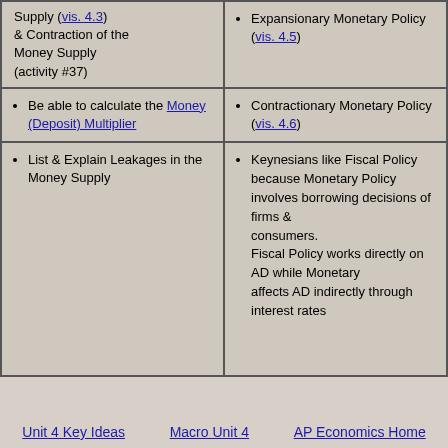Supply (vis. 4.3) & Contraction of the Money Supply (activity #37)
Expansionary Monetary Policy (vis. 4.5)
Be able to calculate the Money (Deposit) Multiplier
Contractionary Monetary Policy (vis. 4.6)
List & Explain Leakages in the Money Supply
Keynesians like Fiscal Policy because Monetary Policy involves borrowing decisions of firms & consumers. Fiscal Policy works directly on AD while Monetary affects AD indirectly through interest rates
Unit 4 Key Ideas    Macro Unit 4    AP Economics Home